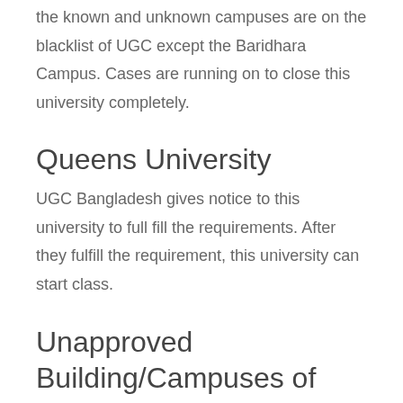the known and unknown campuses are on the blacklist of UGC except the Baridhara Campus. Cases are running on to close this university completely.
Queens University
UGC Bangladesh gives notice to this university to full fill the requirements. After they fulfill the requirement, this university can start class.
Unapproved Building/Campuses of